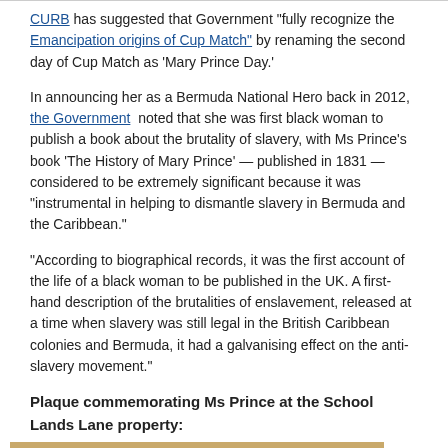CURB has suggested that Government "fully recognize the Emancipation origins of Cup Match" by renaming the second day of Cup Match as 'Mary Prince Day.'
In announcing her as a Bermuda National Hero back in 2012, the Government noted that she was first black woman to publish a book about the brutality of slavery, with Ms Prince's book 'The History of Mary Prince' — published in 1831 — considered to be extremely significant because it was "instrumental in helping to dismantle slavery in Bermuda and the Caribbean."
"According to biographical records, it was the first account of the life of a black woman to be published in the UK. A first-hand description of the brutalities of enslavement, released at a time when slavery was still legal in the British Caribbean colonies and Bermuda, it had a galvanising effect on the anti-slavery movement."
Plaque commemorating Ms Prince at the School Lands Lane property:
[Figure (photo): Photograph of a commemorative plaque with a Bermuda government emblem (circular seal with text 'THE BERMUDA' visible) on a dark bronze/slate background with a light wooden or stone border frame.]